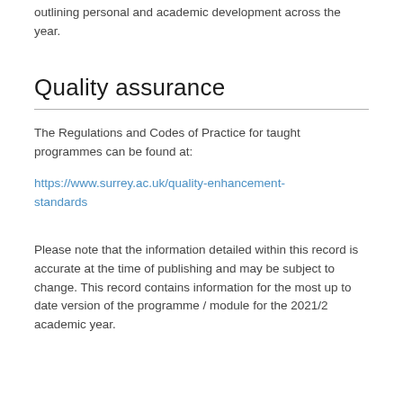outlining personal and academic development across the year.
Quality assurance
The Regulations and Codes of Practice for taught programmes can be found at:
https://www.surrey.ac.uk/quality-enhancement-standards
Please note that the information detailed within this record is accurate at the time of publishing and may be subject to change. This record contains information for the most up to date version of the programme / module for the 2021/2 academic year.